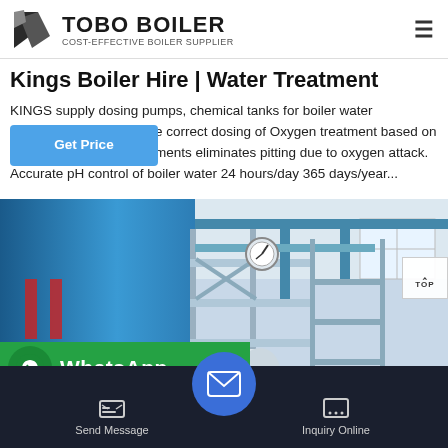TOBO BOILER — COST-EFFECTIVE BOILER SUPPLIER
Kings Boiler Hire | Water Treatment
KINGS supply dosing pumps, chemical tanks for boiler water treatment. The correct dosing of Oxygen treatment based on water requirements eliminates pitting due to oxygen attack. Accurate pH control of boiler water 24 hours/day 365 days/year...
[Figure (photo): Industrial boiler room with large blue cylindrical boiler and pipe system, photographed from below looking up at metal scaffolding and pipework]
Send Message | Inquiry Online